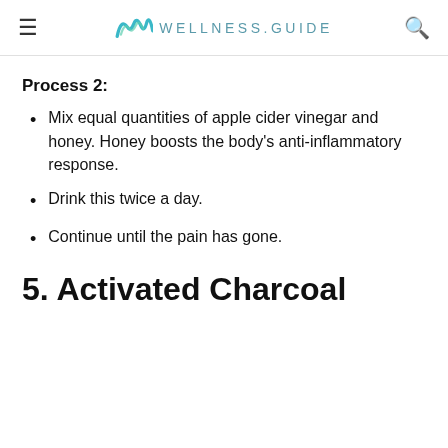WELLNESS.GUIDE
Process 2:
Mix equal quantities of apple cider vinegar and honey. Honey boosts the body's anti-inflammatory response.
Drink this twice a day.
Continue until the pain has gone.
5. Activated Charcoal